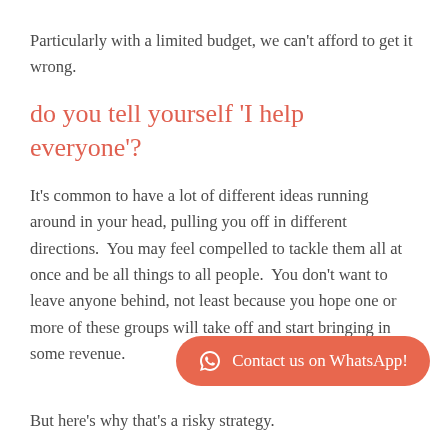Particularly with a limited budget, we can't afford to get it wrong.
do you tell yourself 'I help everyone'?
It's common to have a lot of different ideas running around in your head, pulling you off in different directions.  You may feel compelled to tackle them all at once and be all things to all people.  You don't want to leave anyone behind, not least because you hope one or more of these groups will take off and start bringing in some revenue.
[Figure (other): Contact us on WhatsApp button with WhatsApp icon]
But here's why that's a risky strategy.